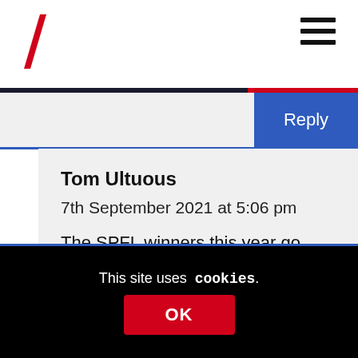Reply
Tom Ultuous
7th September 2021 at 5:06 pm
The SPFL winners this year go straight into next season's Champions League group stages Colin.
This site uses cookies.
OK